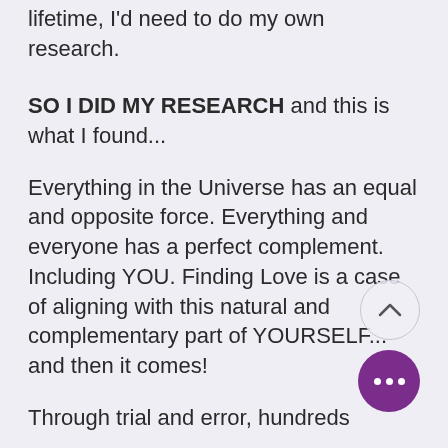lifetime, I'd need to do my own research.
SO I DID MY RESEARCH and this is what I found...
Everything in the Universe has an equal and opposite force. Everything and everyone has a perfect complement. Including YOU. Finding Love is a case of aligning with this natural and complementary part of YOURSELF... and then it comes!
Through trial and error, hundreds